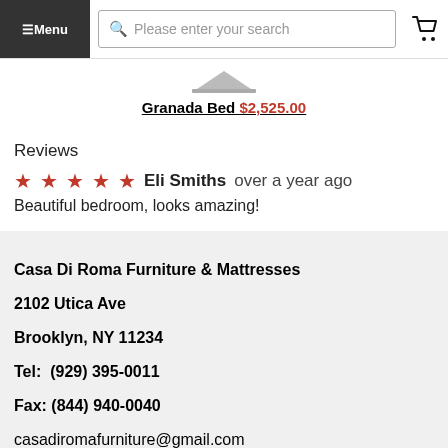Menu | Please enter your search | Cart
[Figure (photo): Partial product image of a bed (bottom portion visible)]
Granada Bed $2,525.00
Reviews
★★★★★ Eli Smiths over a year ago
Beautiful bedroom, looks amazing!
Casa Di Roma Furniture & Mattresses
2102 Utica Ave
Brooklyn, NY 11234
Tel: (929) 395-0011
Fax: (844) 940-0040
casadiromafurniture@gmail.com
Hours:
Monday - Saturday 10:30AM - 8:30PM
Sunday: 12:00PM - 7:00PM